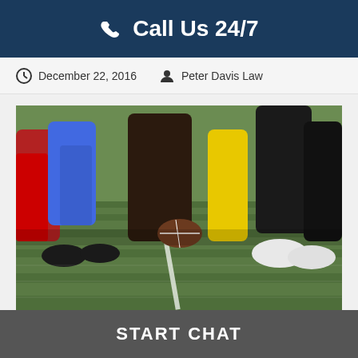Call Us 24/7
December 22, 2016   Peter Davis Law
[Figure (photo): Close-up ground-level photo of American football players lined up at the line of scrimmage on a turf field, with a football visible on the ground, players wearing red, blue, and yellow uniforms.]
START CHAT